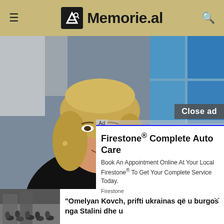☰ Memorie.al 🔍
[Figure (photo): A blonde woman in a black outfit sitting in a TV studio setting, resting her chin on her hand, smiling slightly. Blue window background behind her.]
Close ad
Ad
Firestone® Complete Auto Care
Book An Appointment Online At Your Local Firestone® To Get Your Complete Service Today.
Firestone
[Figure (photo): Black and white historical photo of a crowd gathered in a public square.]
"Omelyan Kovch, prifti ukrainas që u burgos nga Stalini dhe u